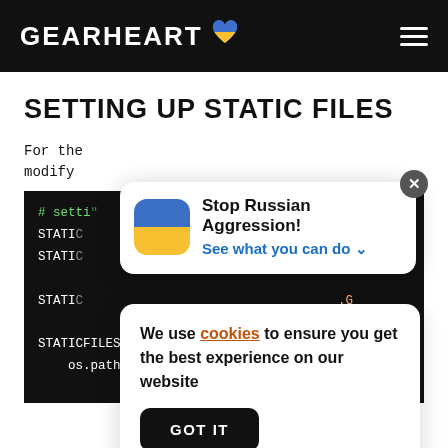GEARHEART 🧡
SETTING UP STATIC FILES
For the
modify
[Figure (screenshot): Ukraine banner popup: blue-yellow flag icon, text 'Stop Russian Aggression! See what you can do v', with X close button]
[Figure (screenshot): Cookie consent popup: 'We use cookies to ensure you get the best experience on our website' with GOT IT button]
[Figure (screenshot): Code block on dark background with Python/Django settings code: # setti..., STATIC..., STATIC..., STATIC..., STATICFILES_DIRS = (, os.path.join(BASE_DIR, 'static'),]